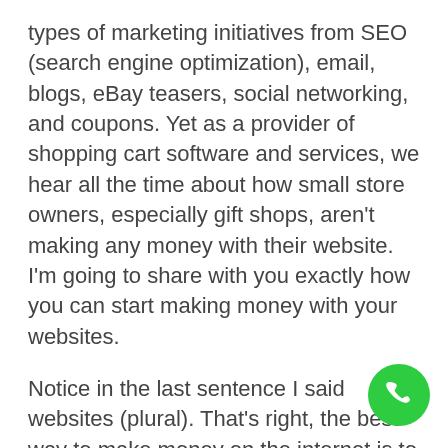types of marketing initiatives from SEO (search engine optimization), email, blogs, eBay teasers, social networking, and coupons. Yet as a provider of shopping cart software and services, we hear all the time about how small store owners, especially gift shops, aren't making any money with their website. I'm going to share with you exactly how you can start making money with your websites.
Notice in the last sentence I said websites (plural). That's right, the best way to make money on the internet is to have multiple websites, each one specific to a single product. Not counting Amazon, the best performing websites are a single page that is known in the industry as a “squeeze page”. Essentially, a squeeze
[Figure (illustration): Green circular phone/call button icon in the bottom right corner]